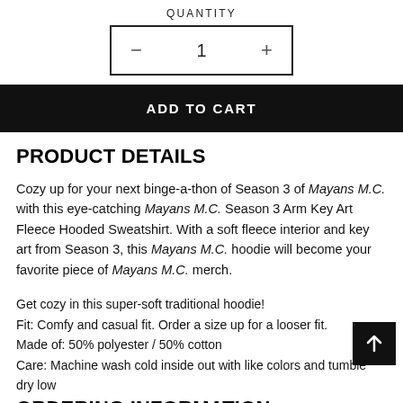QUANTITY
[Figure (other): Quantity selector with minus button, number 1, and plus button inside a rectangular border]
ADD TO CART
PRODUCT DETAILS
Cozy up for your next binge-a-thon of Season 3 of Mayans M.C. with this eye-catching Mayans M.C. Season 3 Arm Key Art Fleece Hooded Sweatshirt. With a soft fleece interior and key art from Season 3, this Mayans M.C. hoodie will become your favorite piece of Mayans M.C. merch.
Get cozy in this super-soft traditional hoodie!
Fit: Comfy and casual fit. Order a size up for a looser fit.
Made of: 50% polyester / 50% cotton
Care: Machine wash cold inside out with like colors and tumble dry low
ORDERING INFORMATION